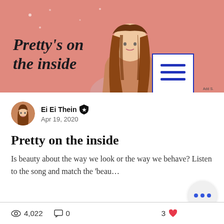[Figure (illustration): Pink banner with illustrated girl with long brown hair and text 'Pretty's on the inside' with a hamburger menu icon overlay]
Ei Ei Thein ★ Apr 19, 2020
Pretty on the inside
Is beauty about the way we look or the way we behave? Listen to the song and match the 'beau…
4,022   0   3